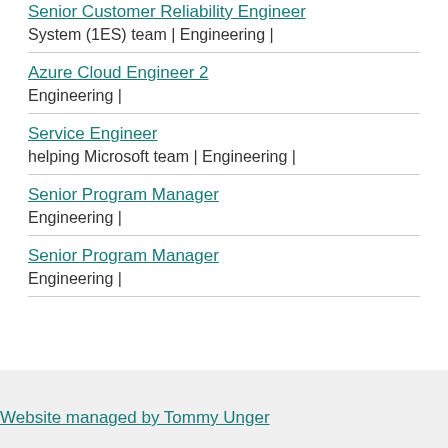Senior Customer Reliability Engineer System (1ES) team | Engineering |
Azure Cloud Engineer 2 Engineering |
Service Engineer helping Microsoft team | Engineering |
Senior Program Manager Engineering |
Senior Program Manager Engineering |
Website managed by Tommy Unger